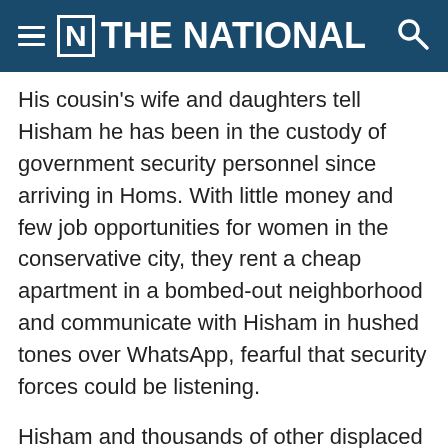THE NATIONAL
His cousin's wife and daughters tell Hisham he has been in the custody of government security personnel since arriving in Homs. With little money and few job opportunities for women in the conservative city, they rent a cheap apartment in a bombed-out neighborhood and communicate with Hisham in hushed tones over WhatsApp, fearful that security forces could be listening.
Hisham and thousands of other displaced Syrians still living in the Rukban camp now face a difficult decision. With supplies dwindling, few residents wish to remain. But stories of arrests and hardship from loved ones who have made their journey back home